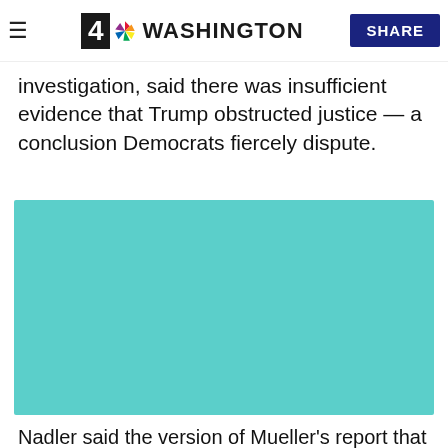NBC4 Washington — SHARE
investigation, said there was insufficient evidence that Trump obstructed justice — a conclusion Democrats fiercely dispute.
[Figure (other): Teal/turquoise colored video embed placeholder block]
Nadler said the version of Mueller's report that has already been released to the public offered "disturbing evidence and analysis that President Trump engaged in obstruction of